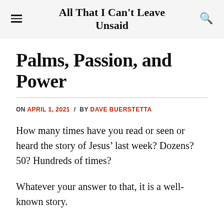All That I Can't Leave Unsaid
Palms, Passion, and Power
ON APRIL 1, 2021 / BY DAVE BUERSTETTA
How many times have you read or seen or heard the story of Jesus’ last week? Dozens? 50? Hundreds of times?
Whatever your answer to that, it is a well-known story.